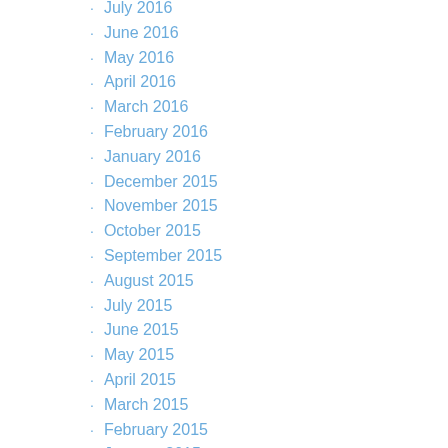July 2016
June 2016
May 2016
April 2016
March 2016
February 2016
January 2016
December 2015
November 2015
October 2015
September 2015
August 2015
July 2015
June 2015
May 2015
April 2015
March 2015
February 2015
January 2015
December 2014
November 2014
October 2014